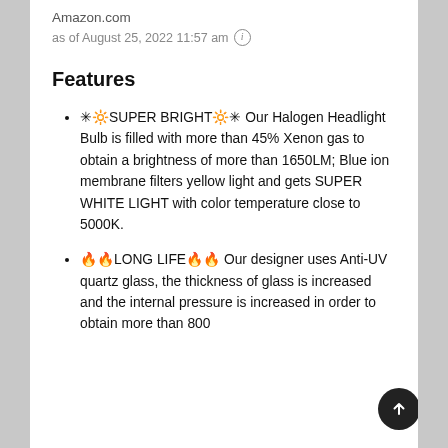Amazon.com
as of August 25, 2022 11:57 am ⓘ
Features
✳︎🔆SUPER BRIGHT🔆✳︎ Our Halogen Headlight Bulb is filled with more than 45% Xenon gas to obtain a brightness of more than 1650LM; Blue ion membrane filters yellow light and gets SUPER WHITE LIGHT with color temperature close to 5000K.
🔥🔥LONG LIFE🔥🔥 Our designer uses Anti-UV quartz glass, the thickness of glass is increased and the internal pressure is increased in order to obtain more than 800